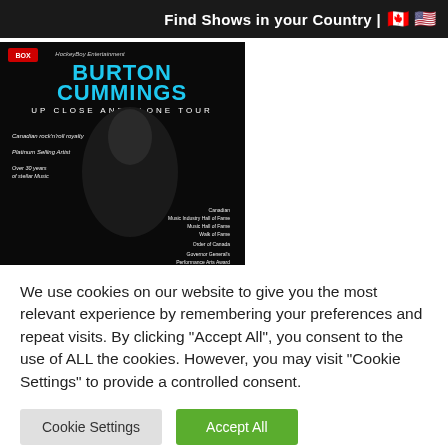Find Shows in your Country | 🇨🇦 🇺🇸
[Figure (photo): Burton Cummings Up Close and Alone Tour concert poster with performer photo and text listing achievements and song titles]
We use cookies on our website to give you the most relevant experience by remembering your preferences and repeat visits. By clicking "Accept All", you consent to the use of ALL the cookies. However, you may visit "Cookie Settings" to provide a controlled consent.
Cookie Settings | Accept All